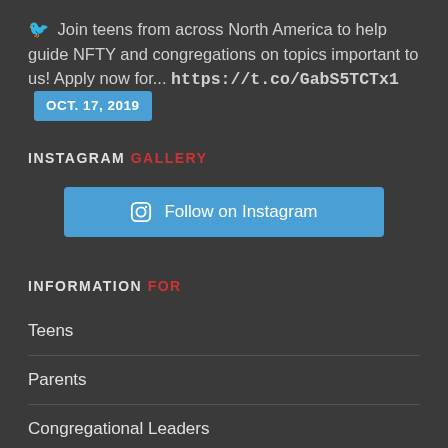Join teens from across North America to help guide NFTY and congregations on topics important to us! Apply now for... https://t.co/GabS5TCTx1 OCT. 17, 2019
INSTAGRAM GALLERY
Follow on Instagram
INFORMATION FOR
Teens
Parents
Congregational Leaders
Youth Group Leadership